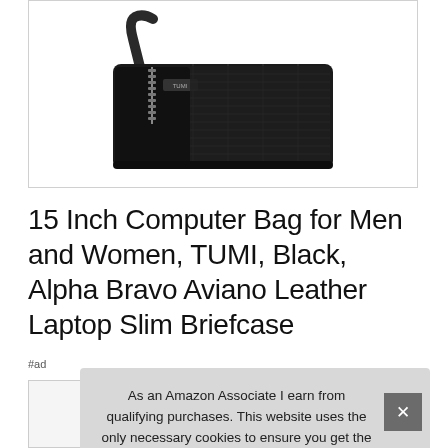[Figure (photo): Black TUMI briefcase laptop bag with zipper and shoulder strap, shown against white background]
15 Inch Computer Bag for Men and Women, TUMI, Black, Alpha Bravo Aviano Leather Laptop Slim Briefcase
#ad
As an Amazon Associate I earn from qualifying purchases. This website uses the only necessary cookies to ensure you get the best experience on our website. More information